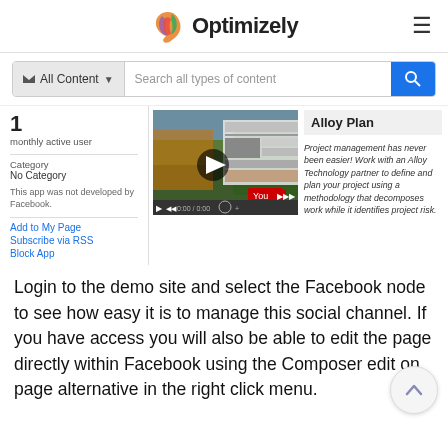Optimizely
All Content  Search all types of content
1
monthly active user
Category
No Category
This app was not developed by Facebook.
Add to My Page
Subscribe via RSS
Block App
[Figure (screenshot): Video player showing a YouTube video thumbnail with autumn trees and a website interface, with playback controls at the bottom.]
Alloy Plan
Project management has never been easier! Work with an Alloy Technology partner to define and plan your project using a methodology that decomposes work while it identifies project risk.
Login to the demo site and select the Facebook node to see how easy it is to manage this social channel. If you have access you will also be able to edit the page directly within Facebook using the Composer edit on page alternative in the right click menu.